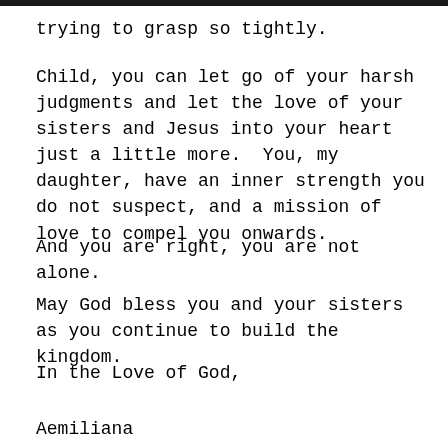trying to grasp so tightly.
Child, you can let go of your harsh judgments and let the love of your sisters and Jesus into your heart just a little more.  You, my daughter, have an inner strength you do not suspect, and a mission of love to compel you onwards.
And you are right, you are not alone.
May God bless you and your sisters as you continue to build the kingdom.
In the Love of God,
Aemiliana